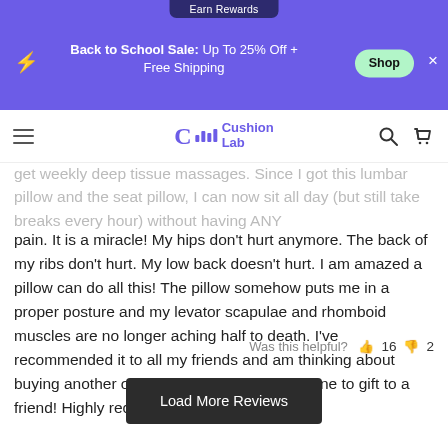Earn Rewards
Back to School Sale: Up To 25% Off + Free Shipping
Shop
[Figure (logo): Cushion Lab logo with stylized C and bar chart icon]
get weekly deep tissue massages. Since I got this lumbar pillow and the seat pillow, I can now sit all day (but still take breaks every hour) without having ANY pain. It is a miracle! My hips don't hurt anymore. The back of my ribs don't hurt. My low back doesn't hurt. I am amazed a pillow can do all this! The pillow somehow puts me in a proper posture and my levator scapulae and rhomboid muscles are no longer aching half to death. I've recommended it to all my friends and am thinking about buying another one for my car and another one to gift to a friend! Highly recommend!
Was this helpful? 👍 16 👎 2
Load More Reviews